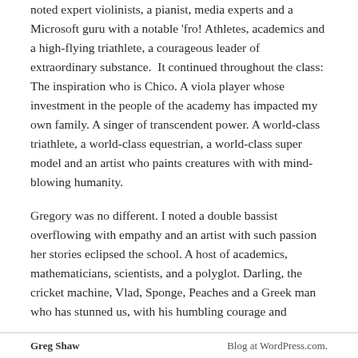noted expert violinists, a pianist, media experts and a Microsoft guru with a notable 'fro! Athletes, academics and a high-flying triathlete, a courageous leader of extraordinary substance.  It continued throughout the class: The inspiration who is Chico. A viola player whose investment in the people of the academy has impacted my own family. A singer of transcendent power. A world-class triathlete, a world-class equestrian, a world-class super model and an artist who paints creatures with with mind-blowing humanity.
Gregory was no different. I noted a double bassist overflowing with empathy and an artist with such passion her stories eclipsed the school. A host of academics, mathematicians, scientists, and a polyglot. Darling, the cricket machine, Vlad, Sponge, Peaches and a Greek man who has stunned us, with his humbling courage and
Greg Shaw                                                            Blog at WordPress.com.